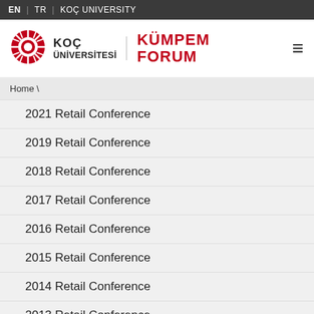EN | TR | KOÇ UNIVERSITY
[Figure (logo): Koç Üniversitesi and KÜMPEM FORUM logo with stylized circular emblem]
Home \
2021 Retail Conference
2019 Retail Conference
2018 Retail Conference
2017 Retail Conference
2016 Retail Conference
2015 Retail Conference
2014 Retail Conference
2013 Retail Conference
2012 Retail Conference